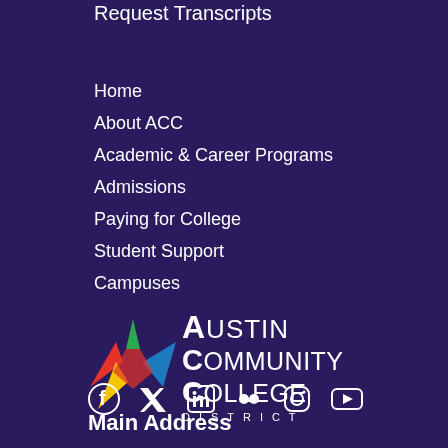Request Transcripts
Home
About ACC
Academic & Career Programs
Admissions
Paying for College
Student Support
Campuses
[Figure (logo): Austin Community College District logo — colorful star icon with red, green, yellow, and blue points alongside white text reading Austin Community College District]
[Figure (infographic): Social media icons row: Facebook, Twitter/X, LinkedIn, Flickr, Instagram, YouTube — all white on dark purple background]
Main Address